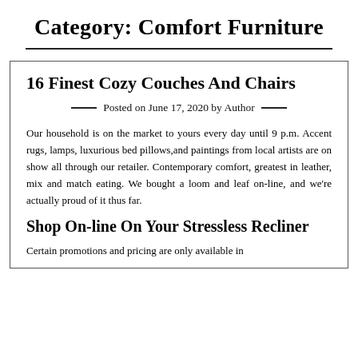Category: Comfort Furniture
16 Finest Cozy Couches And Chairs
Posted on June 17, 2020 by Author
Our household is on the market to yours every day until 9 p.m. Accent rugs, lamps, luxurious bed pillows,and paintings from local artists are on show all through our retailer. Contemporary comfort, greatest in leather, mix and match eating. We bought a loom and leaf on-line, and we're actually proud of it thus far.
Shop On-line On Your Stressless Recliner
Certain promotions and pricing are only available in